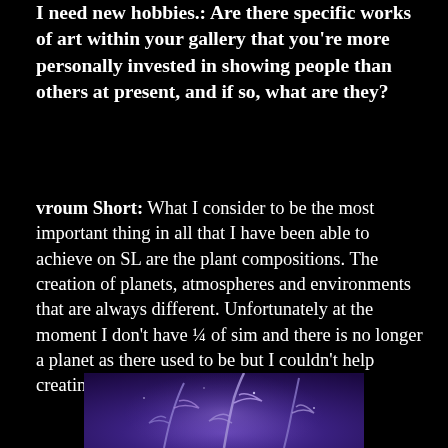I need new hobbies.: Are there specific works of art within your gallery that you're more personally invested in showing people than others at present, and if so, what are they?
vroum Short: What I consider to be the most important thing in all that I have been able to achieve on SL are the plant compositions. The creation of planets, atmospheres and environments that are always different. Unfortunately at the moment I don't have ¼ of sim and there is no longer a planet as there used to be but I couldn't help creating a small garden at ground level.
[Figure (photo): A dark, stylized digital artwork showing what appears to be plant or floral forms in purple and blue tones against a dark background.]